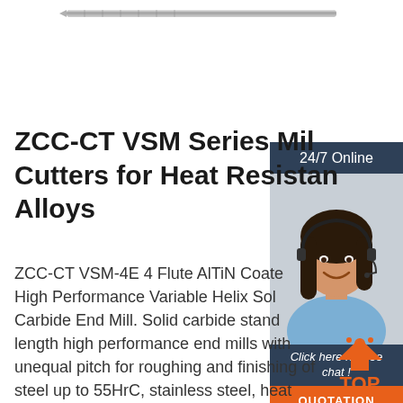[Figure (illustration): A cylindrical milling/cutting tool shown horizontally at the top of the page]
[Figure (photo): 24/7 Online customer service representative — woman with headset smiling, with dark blue header bar saying 24/7 Online, a dark blue Click here for free chat panel, and an orange QUOTATION button]
ZCC-CT VSM Series Milling Cutters for Heat Resistant Alloys
ZCC-CT VSM-4E 4 Flute AlTiN Coated High Performance Variable Helix Solid Carbide End Mill. Solid carbide standard length high performance end mills with unequal pitch for roughing and finishing of steel up to 55HrC, stainless steel, heat resistant alloys and cast iron with high metal removal rate. AlTiN (Aluminium